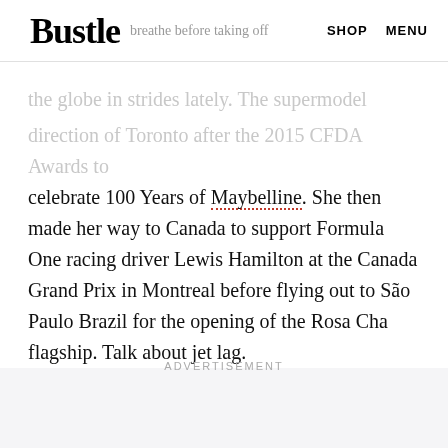Bustle | breathe before taking off | SHOP MENU
the globe in strides lately. The supermodel barely gave
direction of Toronto after the 2015 CFDA Awards to celebrate 100 Years of Maybelline. She then made her way to Canada to support Formula One racing driver Lewis Hamilton at the Canada Grand Prix in Montreal before flying out to São Paulo Brazil for the opening of the Rosa Cha flagship. Talk about jet lag.
ADVERTISEMENT